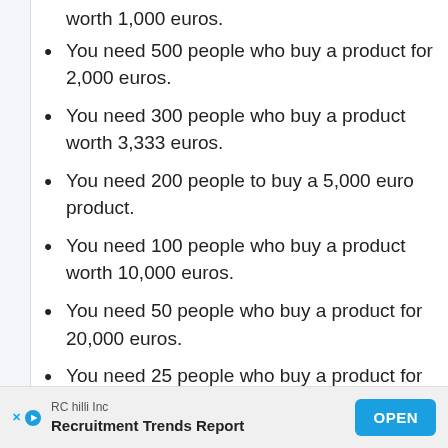worth 1,000 euros.
You need 500 people who buy a product for 2,000 euros.
You need 300 people who buy a product worth 3,333 euros.
You need 200 people to buy a 5,000 euro product.
You need 100 people who buy a product worth 10,000 euros.
You need 50 people who buy a product for 20,000 euros.
You need 25 people who buy a product for
RC hilli Inc — Recruitment Trends Report — OPEN